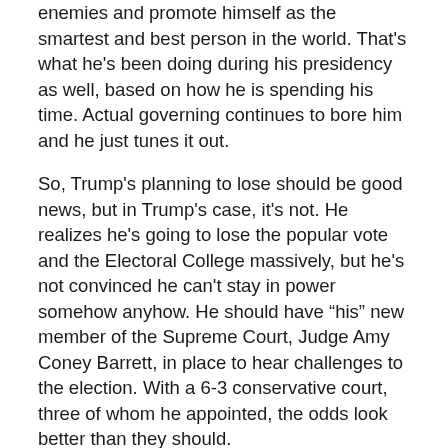enemies and promote himself as the smartest and best person in the world. That's what he's been doing during his presidency as well, based on how he is spending his time. Actual governing continues to bore him and he just tunes it out.
So, Trump's planning to lose should be good news, but in Trump's case, it's not. He realizes he's going to lose the popular vote and the Electoral College massively, but he's not convinced he can't stay in power somehow anyhow. He should have “his” new member of the Supreme Court, Judge Amy Coney Barrett, in place to hear challenges to the election. With a 6-3 conservative court, three of whom he appointed, the odds look better than they should.
He’ll try every possible path to overturn the will of the voters. He’ll try to twist states with Republican controlled legislatures to award their electoral votes to him against the popular vote in the state, a possible but dubious strategy which is actually legal, in many cases. He will spin up all sorts of spurious lawsuits, making the case that the votes were rigged and that only votes cast on Election Day should count, unless, of course, mail in ballots favor him in a particular state. It’s all going to be a huge mess and he’ll hope “his” court will twist all sorts of rules to make